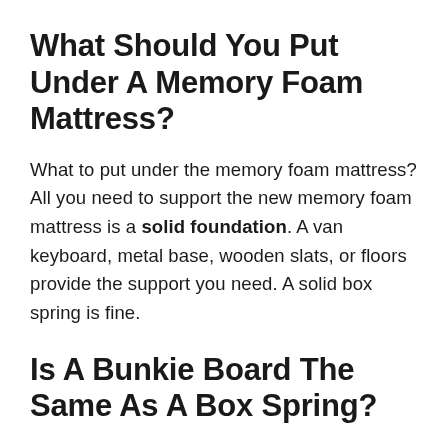What Should You Put Under A Memory Foam Mattress?
What to put under the memory foam mattress? All you need to support the new memory foam mattress is a solid foundation. A van keyboard, metal base, wooden slats, or floors provide the support you need. A solid box spring is fine.
Is A Bunkie Board The Same As A Box Spring?